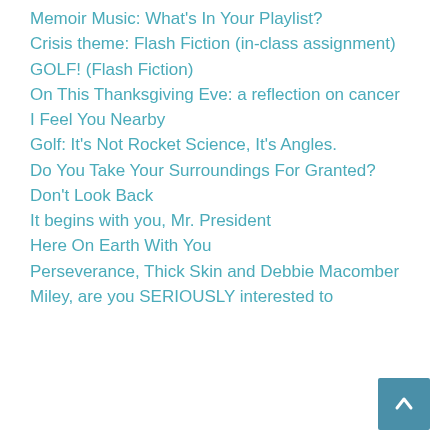Memoir Music: What’s In Your Playlist?
Crisis theme: Flash Fiction (in-class assignment)
GOLF! (Flash Fiction)
On This Thanksgiving Eve: a reflection on cancer
I Feel You Nearby
Golf: It’s Not Rocket Science, It’s Angles.
Do You Take Your Surroundings For Granted?
Don’t Look Back
It begins with you, Mr. President
Here On Earth With You
Perseverance, Thick Skin and Debbie Macomber
Miley, are you SERIOUSLY interested to